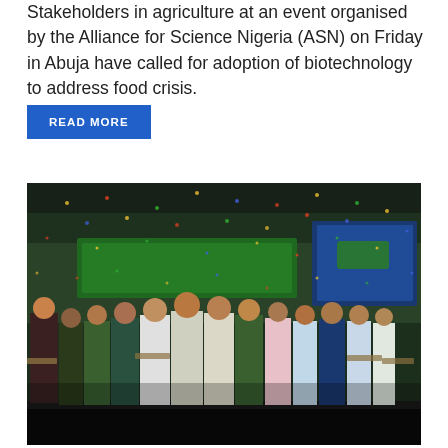Stakeholders in agriculture at an event organised by the Alliance for Science Nigeria (ASN) on Friday in Abuja have called for adoption of biotechnology to address food crisis.
READ MORE
[Figure (photo): Group photo of stakeholders at an Alliance for Science Nigeria (ASN) event in Abuja, with confetti falling and a green banner in the background. Multiple people standing on a stage holding items.]